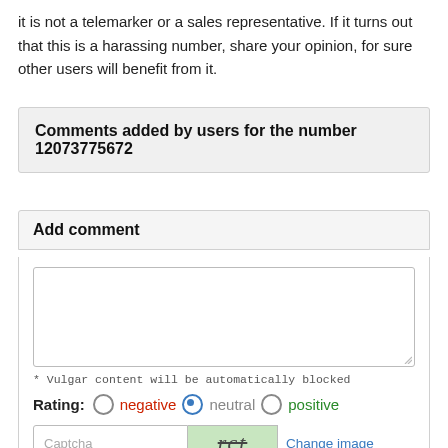it is not a telemarker or a sales representative. If it turns out that this is a harassing number, share your opinion, for sure other users will benefit from it.
Comments added by users for the number 12073775672
Add comment
* Vulgar content will be automatically blocked
Rating: negative  neutral  positive
Captcha  Change image